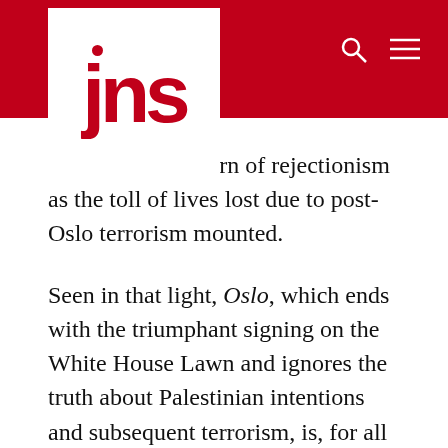[Figure (logo): JNS logo — red text 'jns' with a red dot above the 'j', on white background, inside a white box set against a red header bar]
d repeat that pattern of rejectionism as the toll of lives lost due to post-Oslo terrorism mounted.
Seen in that light, Oslo, which ends with the triumphant signing on the White House Lawn and ignores the truth about Palestinian intentions and subsequent terrorism, is, for all of its attention to detail, historically illiterate. The theatrical effort to crown Larsen, Juul and the negotiators as heroes of peace is absurd.
The problem is that the American foreign-